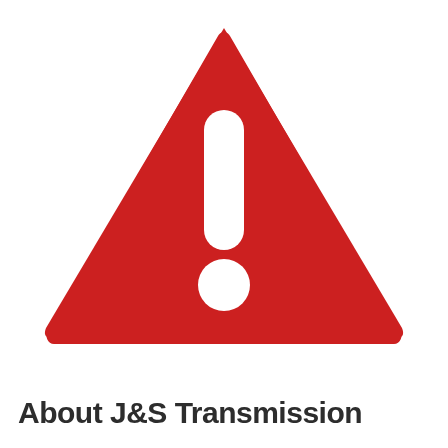[Figure (illustration): A red rounded-corner warning triangle with a white exclamation mark (rectangular body with rounded rectangle shape and a circular dot below) centered inside it.]
About J&S Transmission